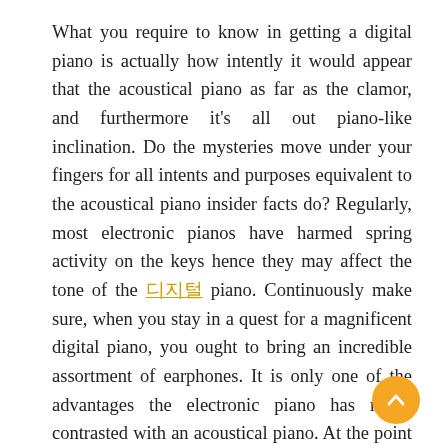What you require to know in getting a digital piano is actually how intently it would appear that the acoustical piano as far as the clamor, and furthermore it's all out piano-like inclination. Do the mysteries move under your fingers for all intents and purposes equivalent to the acoustical piano insider facts do? Regularly, most electronic pianos have harmed spring activity on the keys hence they may affect the tone of the [link] piano. Continuously make sure, when you stay in a quest for a magnificent digital piano, you ought to bring an incredible assortment of earphones. It is only one of the advantages the electronic piano has really contrasted with an acoustical piano. At the point when a gamer needs to play uproarious yet his surroundings are against the clamor it may bring, he may just associate the earphones and play as